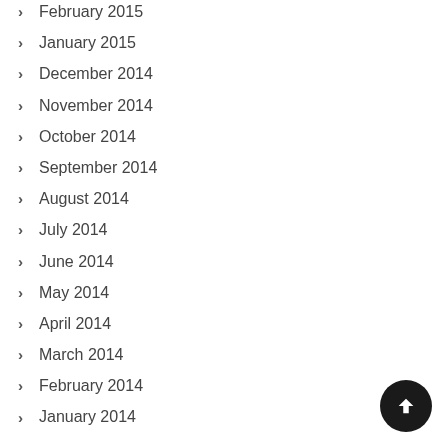February 2015
January 2015
December 2014
November 2014
October 2014
September 2014
August 2014
July 2014
June 2014
May 2014
April 2014
March 2014
February 2014
January 2014